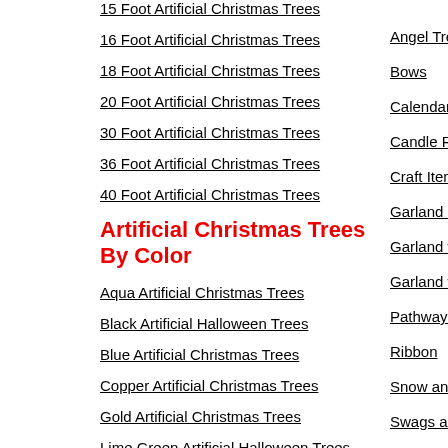15 Foot Artificial Christmas Trees
16 Foot Artificial Christmas Trees
18 Foot Artificial Christmas Trees
20 Foot Artificial Christmas Trees
30 Foot Artificial Christmas Trees
36 Foot Artificial Christmas Trees
40 Foot Artificial Christmas Trees
Artificial Christmas Trees By Color
Aqua Artificial Christmas Trees
Black Artificial Halloween Trees
Blue Artificial Christmas Trees
Copper Artificial Christmas Trees
Gold Artificial Christmas Trees
Lime Green Artificial Halloween Trees
Angel Tree
Bows
Calendars
Candle Ri
Craft Item
Garland C
Garland w
Garland w
Pathway M
Ribbon
Snow and
Swags an
Teardrops
Teardrops
Village Tre